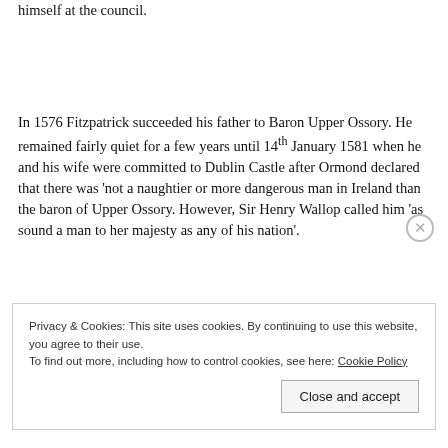himself at the council.
In 1576 Fitzpatrick succeeded his father to Baron Upper Ossory. He remained fairly quiet for a few years until 14th January 1581 when he and his wife were committed to Dublin Castle after Ormond declared that there was ‘not a naughtier or more dangerous man in Ireland than the baron of Upper Ossory. However, Sir Henry Wallop called him ‘as sound a man to her majesty as any of his nation’.
Privacy & Cookies: This site uses cookies. By continuing to use this website, you agree to their use.
To find out more, including how to control cookies, see here: Cookie Policy
Close and accept